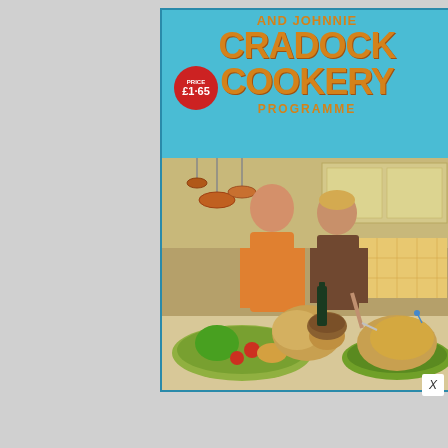[Figure (photo): Book cover of 'Fanny and Johnnie Cradock Cookery Programme'. Bright blue background with large orange text for the title. A red circular badge shows 'PRICE £1·65'. Below the title text is a photograph of two people (a man in orange and a woman in brown) in a kitchen, with roasted poultry and platters of food on the counter in front of them. Copper pans hang in the background.]